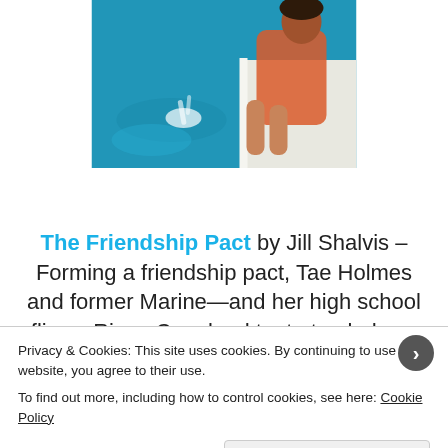[Figure (photo): A woman in a red outfit sitting at the edge of a pool, with her legs splashing in blue water. A white structure is visible beside her.]
The Friendship Pact by Jill Shalvis – Forming a friendship pact, Tae Holmes and former Marine—and her high school fling—Riggs Copeland try to track down the father Tae's never met, leading them on a wild adventure
Privacy & Cookies: This site uses cookies. By continuing to use this website, you agree to their use.
To find out more, including how to control cookies, see here: Cookie Policy

Close and accept